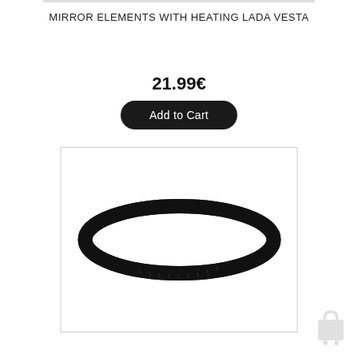MIRROR ELEMENTS WITH HEATING LADA VESTA
21.99€
Add to Cart
[Figure (photo): A black ribbed serpentine/drive belt photographed on a white background, shown in an elongated oval loop shape.]